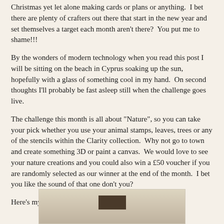Christmas yet let alone making cards or plans or anything.  I bet there are plenty of crafters out there that start in the new year and set themselves a target each month aren't there?  You put me to shame!!!
By the wonders of modern technology when you read this post I will be sitting on the beach in Cyprus soaking up the sun, hopefully with a glass of something cool in my hand.  On second thoughts I'll probably be fast asleep still when the challenge goes live.
The challenge this month is all about "Nature", so you can take your pick whether you use your animal stamps, leaves, trees or any of the stencils within the Clarity collection.  Why not go to town and create something 3D or paint a canvas.  We would love to see your nature creations and you could also win a £50 voucher if you are randomly selected as our winner at the end of the month.  I bet you like the sound of that one don't you?
Here's my card for inspiration:
[Figure (photo): Partial view of a card, showing a beige/tan colored card background at the bottom of the page.]